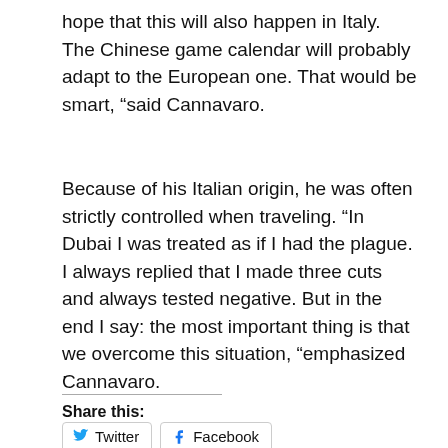hope that this will also happen in Italy. The Chinese game calendar will probably adapt to the European one. That would be smart, “said Cannavaro.
Because of his Italian origin, he was often strictly controlled when traveling. “In Dubai I was treated as if I had the plague. I always replied that I made three cuts and always tested negative. But in the end I say: the most important thing is that we overcome this situation, “emphasized Cannavaro.
.
Share this: